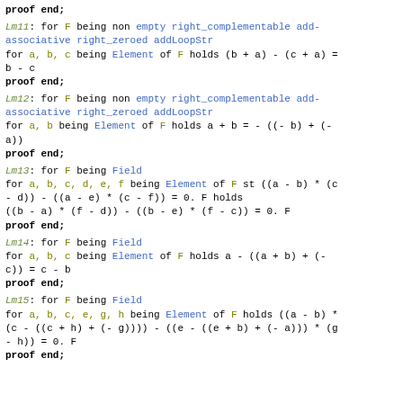proof end;
Lm11: for F being non empty right_complementable add-associative right_zeroed addLoopStr
for a, b, c being Element of F holds (b + a) - (c + a) = b - c
proof end;
Lm12: for F being non empty right_complementable add-associative right_zeroed addLoopStr
for a, b being Element of F holds a + b = - ((- b) + (- a))
proof end;
Lm13: for F being Field
for a, b, c, d, e, f being Element of F st ((a - b) * (c - d)) - ((a - e) * (c - f)) = 0. F holds
((b - a) * (f - d)) - ((b - e) * (f - c)) = 0. F
proof end;
Lm14: for F being Field
for a, b, c being Element of F holds a - ((a + b) + (- c)) = c - b
proof end;
Lm15: for F being Field
for a, b, c, e, g, h being Element of F holds ((a - b) * (c - ((c + h) + (- g)))) - ((e - ((e + b) + (- a))) * (g - h)) = 0. F
proof end;